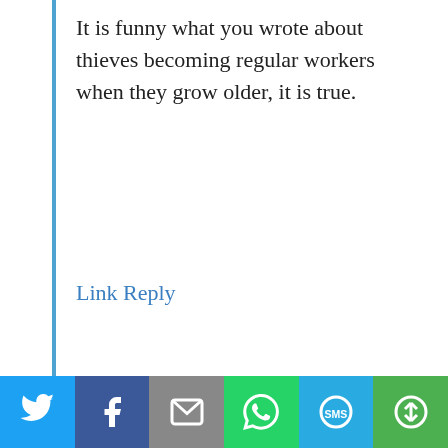It is funny what you wrote about thieves becoming regular workers when they grow older, it is true.
Link Reply
craig | travelvice.com
…there are far too many people on this beach with joints and no lighters than probability would allow for. Hilarious.
[Figure (infographic): Share bar with Twitter, Facebook, Email, WhatsApp, SMS, and More buttons]